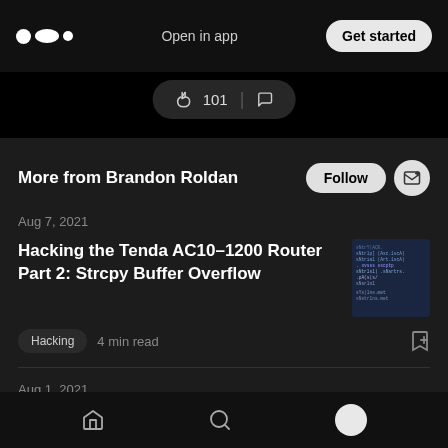Medium logo | Open in app | Get started
👏 101 | 💬
More from Brandon Roldan
Aug 7, 2021
Hacking the Tenda AC10–1200 Router Part 2: Strcpy Buffer Overflow
[Figure (screenshot): Thumbnail showing code/terminal output with dark blue background and colored text]
Hacking   4 min read
Aug 1, 2021
Home | Search | Profile